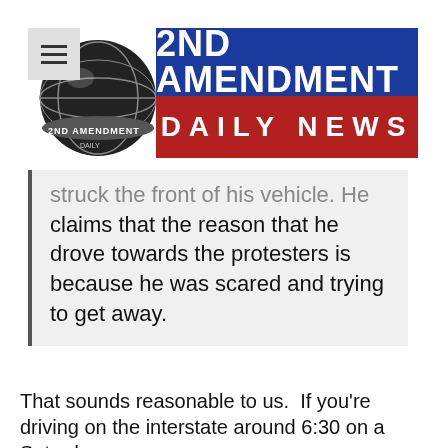[Figure (logo): 2nd Amendment Daily News logo with globe graphic, blue banner reading '2ND AMENDMENT' and red banner reading 'DAILY NEWS']
struck the front of his vehicle. He claims that the reason that he drove towards the protesters is because he was scared and trying to get away.
That sounds reasonable to us. If you're driving on the interstate around 6:30 on a Saturday